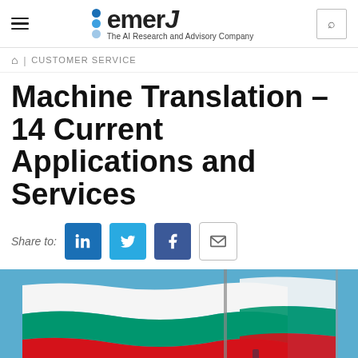emerJ – The AI Research and Advisory Company
CUSTOMER SERVICE
Machine Translation – 14 Current Applications and Services
Share to:
[Figure (photo): Bulgarian (or similar tricolor) flags waving against a blue sky]
[Figure (photo): Right portion of the same flag image]